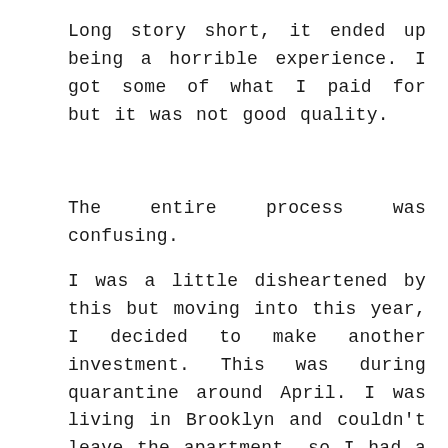Long story short, it ended up being a horrible experience. I got some of what I paid for but it was not good quality.
The entire process was confusing.
I was a little disheartened by this but moving into this year, I decided to make another investment. This was during quarantine around April. I was living in Brooklyn and couldn't leave the apartment, so I had a lot of time on my hands. I decided to use this time and make another investment in a company to help me develop funnels. They would also do social media and